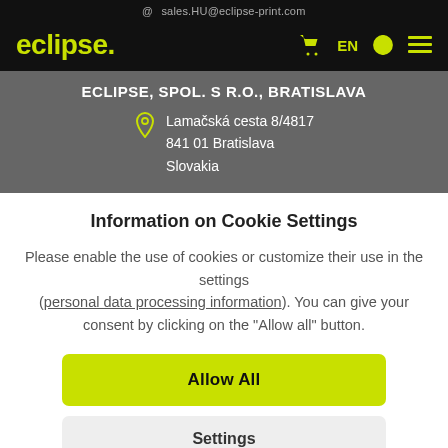sales.HU@eclipse-print.com
[Figure (logo): eclipse. logo in yellow-green on black navbar with cart, EN, globe, and hamburger icons]
ECLIPSE, SPOL. S R.O., BRATISLAVA
Lamačská cesta 8/4817
841 01 Bratislava
Slovakia
Information on Cookie Settings
Please enable the use of cookies or customize their use in the settings (personal data processing information). You can give your consent by clicking on the "Allow all" button.
Allow All
Settings